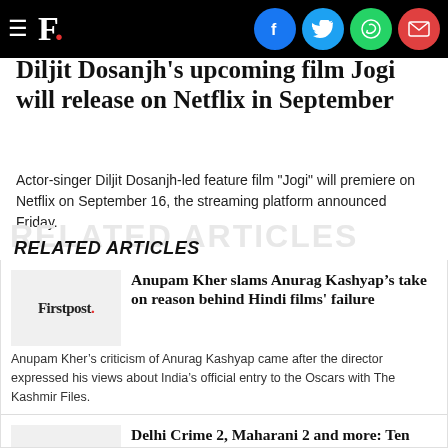F. [Firstpost logo with social share icons: Facebook, Twitter, WhatsApp, Email]
Diljit Dosanjh's upcoming film Jogi will release on Netflix in September
Actor-singer Diljit Dosanjh-led feature film "Jogi" will premiere on Netflix on September 16, the streaming platform announced Friday.
RELATED ARTICLES
[Figure (logo): Firstpost logo thumbnail]
Anupam Kher slams Anurag Kashyap’s take on reason behind Hindi films' failure
Anupam Kher’s criticism of Anurag Kashyap came after the director expressed his views about India’s official entry to the Oscars with The Kashmir Files.
[Figure (logo): Firstpost logo thumbnail]
Delhi Crime 2, Maharani 2 and more: Ten OTT shows to add to your binge-list this weekend